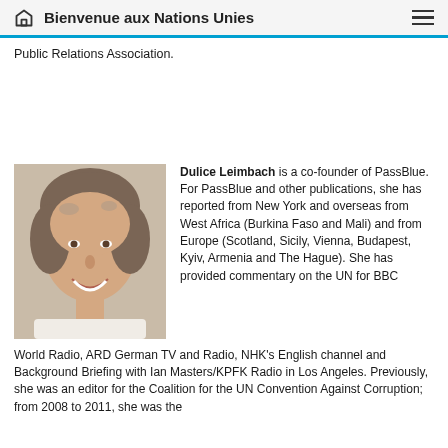Bienvenue aux Nations Unies
Public Relations Association.
[Figure (photo): Headshot of Dulice Leimbach, a woman with short curly brown and gray hair, smiling, wearing a white top, against a light background.]
Dulice Leimbach is a co-founder of PassBlue. For PassBlue and other publications, she has reported from New York and overseas from West Africa (Burkina Faso and Mali) and from Europe (Scotland, Sicily, Vienna, Budapest, Kyiv, Armenia and The Hague). She has provided commentary on the UN for BBC World Radio, ARD German TV and Radio, NHK's English channel and Background Briefing with Ian Masters/KPFK Radio in Los Angeles. Previously, she was an editor for the Coalition for the UN Convention Against Corruption; from 2008 to 2011, she was the